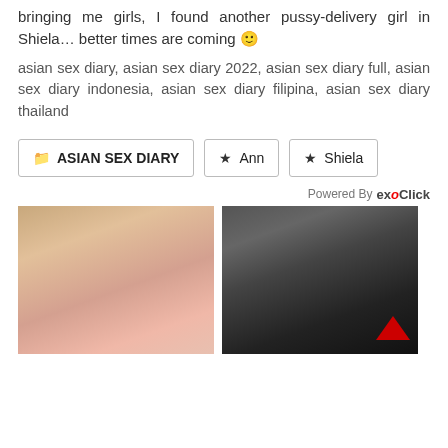bringing me girls, I found another pussy-delivery girl in Shiela… better times are coming 🙂
asian sex diary, asian sex diary 2022, asian sex diary full, asian sex diary indonesia, asian sex diary filipina, asian sex diary thailand
🗂 ASIAN SEX DIARY
★ Ann
★ Shiela
Powered By exoClick
[Figure (photo): Photo of a blonde woman]
[Figure (photo): Photo of a woman in black latex costume with mask]